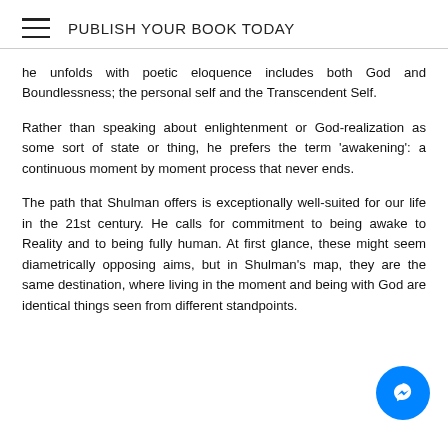PUBLISH YOUR BOOK TODAY
he unfolds with poetic eloquence includes both God and Boundlessness; the personal self and the Transcendent Self.
Rather than speaking about enlightenment or God-realization as some sort of state or thing, he prefers the term 'awakening': a continuous moment by moment process that never ends.
The path that Shulman offers is exceptionally well-suited for our life in the 21st century. He calls for commitment to being awake to Reality and to being fully human. At first glance, these might seem diametrically opposing aims, but in Shulman's map, they are the same destination, where living in the moment and being with God are identical things seen from different standpoints.
[Figure (other): Facebook Messenger chat button (blue circle with white messenger icon) in bottom-right corner]